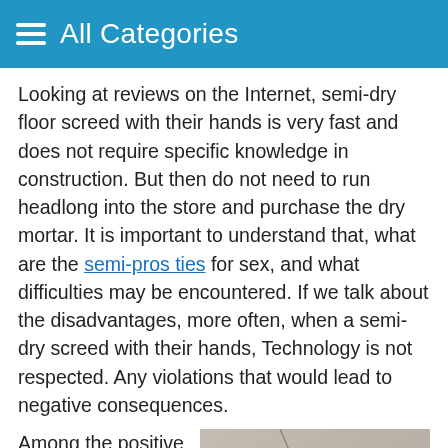All Categories
Looking at reviews on the Internet, semi-dry floor screed with their hands is very fast and does not require specific knowledge in construction. But then do not need to run headlong into the store and purchase the dry mortar. It is important to understand that, what are the semi-pros ties for sex, and what difficulties may be encountered. If we talk about the disadvantages, more often, when a semi-dry screed with their hands, Technology is not respected. Any violations that would lead to negative consequences.
Among the positive aspects distinguish the most basic of them, allowing not to think about, some
[Figure (photo): Close-up photo of a light grey concrete or screed floor surface showing cracks and texture.]